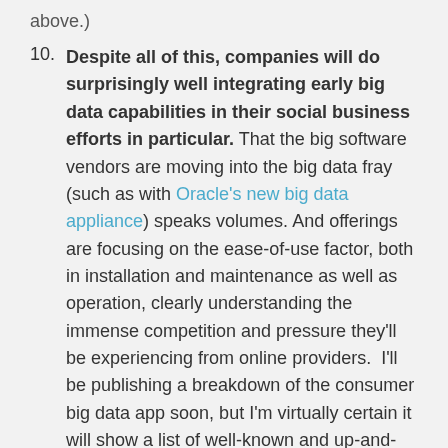above.)
Despite all of this, companies will do surprisingly well integrating early big data capabilities in their social business efforts in particular. That the big software vendors are moving into the big data fray (such as with Oracle's new big data appliance) speaks volumes. And offerings are focusing on the ease-of-use factor, both in installation and maintenance as well as operation, clearly understanding the immense competition and pressure they'll be experiencing from online providers. I'll be publishing a breakdown of the consumer big data app soon, but I'm virtually certain it will show a list of well-known and up-and-coming household names that you'll be seeing in the enterprise this year as companies throw big data solutions at their